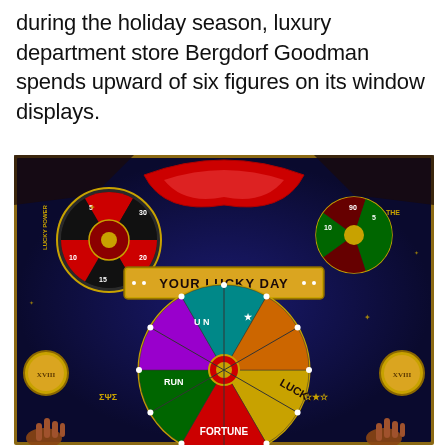during the holiday season, luxury department store Bergdorf Goodman spends upward of six figures on its window displays.
[Figure (photo): A colorful, ornate carnival/circus-themed window display featuring spinning wheels, a banner reading 'YOUR LUCKY DAY', a large fortune wheel with text fragments, glittering decorations, hands at the bottom, and various festive elements in rich reds, golds, greens and blues.]